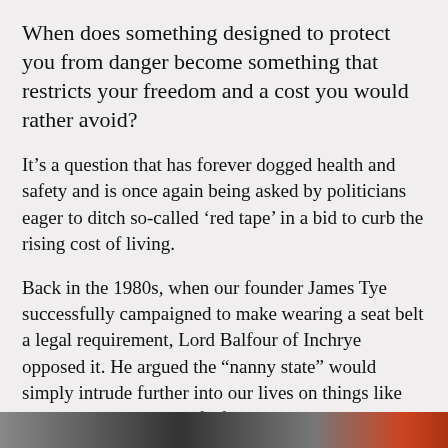When does something designed to protect you from danger become something that restricts your freedom and a cost you would rather avoid?
It’s a question that has forever dogged health and safety and is once again being asked by politicians eager to ditch so-called ‘red tape’ in a bid to curb the rising cost of living.
Back in the 1980s, when our founder James Tye successfully campaigned to make wearing a seat belt a legal requirement, Lord Balfour of Inchrye opposed it. He argued the “nanny state” would simply intrude further into our lives on things like smoking and – heaven forfend – mandating the use of life jackets. Both of these we now, of course, accept as common sense.
[Figure (photo): Partial photograph visible at the bottom of the page, cropped]